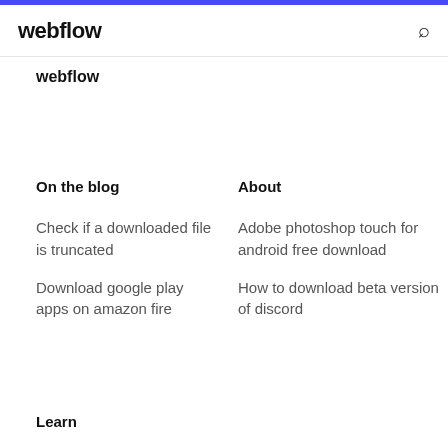webflow
webflow
On the blog
Check if a downloaded file is truncated
Download google play apps on amazon fire
About
Adobe photoshop touch for android free download
How to download beta version of discord
Learn